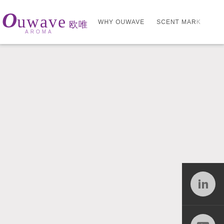OUWAVE 欧唯 AROMA | WHY OUWAVE | SCENT MARK
[Figure (screenshot): Ouwave Aroma website screenshot showing navigation bar with logo and social media sidebar icons (LinkedIn, YouTube, Instagram, Facebook)]